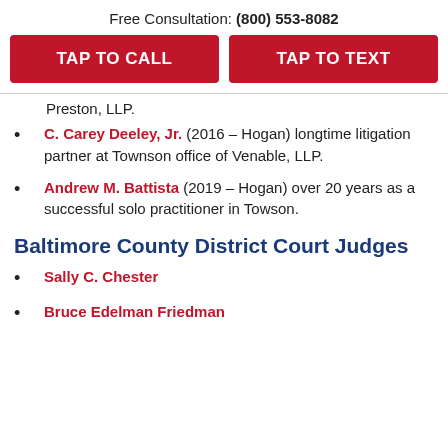Free Consultation: (800) 553-8082
TAP TO CALL
TAP TO TEXT
Preston, LLP.
C. Carey Deeley, Jr. (2016 – Hogan) longtime litigation partner at Townson office of Venable, LLP.
Andrew M. Battista (2019 – Hogan) over 20 years as a successful solo practitioner in Towson.
Baltimore County District Court Judges
Sally C. Chester
Bruce Edelman Friedman